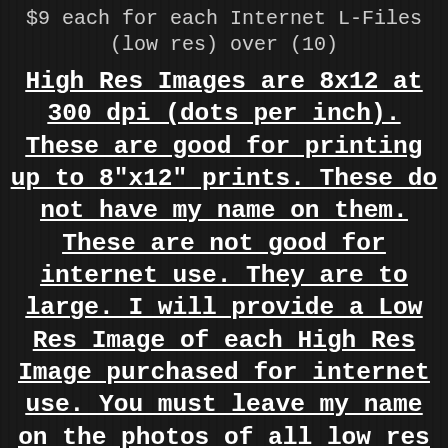$9 each for each Internet L-Files (low res) over (10)
High Res Images are 8x12 at 300 dpi (dots per inch). These are good for printing up to 8"x12" prints. These do not have my name on them. These are not good for internet use. They are to large. I will provide a Low Res Image of each High Res Image purchased for internet use. You must leave my name on the photos of all low res images.
(1) Electronic image 8x12 at 300 dpi for personal use only $65.00
(2) Electronic images 8x12 at 300 dpi for